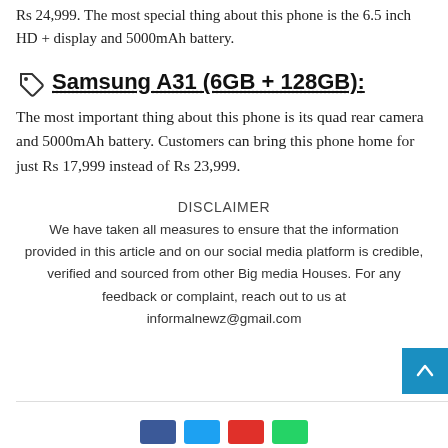Rs 24,999. The most special thing about this phone is the 6.5 inch HD + display and 5000mAh battery.
Samsung A31 (6GB + 128GB):
The most important thing about this phone is its quad rear camera and 5000mAh battery. Customers can bring this phone home for just Rs 17,999 instead of Rs 23,999.
DISCLAIMER
We have taken all measures to ensure that the information provided in this article and on our social media platform is credible, verified and sourced from other Big media Houses. For any feedback or complaint, reach out to us at informalnewz@gmail.com